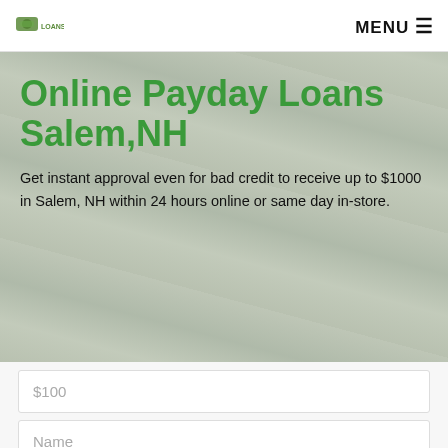MENU
[Figure (logo): Small green logo/icon in top left navigation bar]
Online Payday Loans Salem,NH
Get instant approval even for bad credit to receive up to $1000 in Salem, NH within 24 hours online or same day in-store.
$100
Name